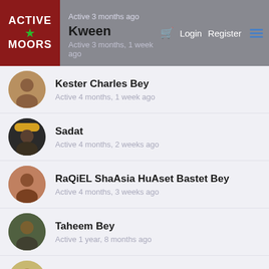Active Moors — Navigation bar with Login, Register
Kween — Active 3 months, 1 week ago
Kester Charles Bey — Active 4 months, 1 week ago
Sadat — Active 4 months, 2 weeks ago
RaQiEL ShaAsia HuAset Bastet Bey — Active 4 months, 3 weeks ago
Taheem Bey — Active 1 year, 8 months ago
The Universal Ma'at — Active 1 year, 8 months ago
Afiah Bey Griot/ Storyteller — Active 1 year, 8 months ago
Abdullah Ali — Active 1 year, 8 months ago
Vernon L Bryant-EL — Active 1 year, 8 months ago